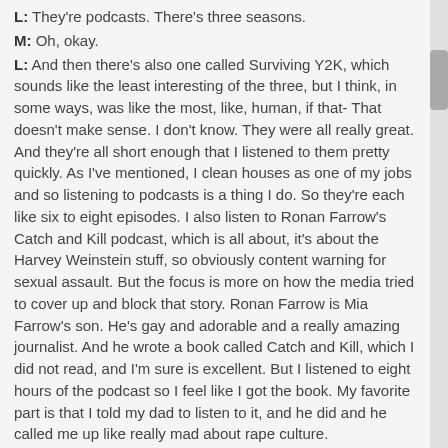L: They're podcasts. There's three seasons.
M: Oh, okay.
L: And then there's also one called Surviving Y2K, which sounds like the least interesting of the three, but I think, in some ways, was like the most, like, human, if that- That doesn't make sense. I don't know. They were all really great. And they're all short enough that I listened to them pretty quickly. As I've mentioned, I clean houses as one of my jobs and so listening to podcasts is a thing I do. So they're each like six to eight episodes. I also listen to Ronan Farrow's Catch and Kill podcast, which is all about, it's about the Harvey Weinstein stuff, so obviously content warning for sexual assault. But the focus is more on how the media tried to cover up and block that story. Ronan Farrow is Mia Farrow's son. He's gay and adorable and a really amazing journalist. And he wrote a book called Catch and Kill, which I did not read, and I'm sure is excellent. But I listened to eight hours of the podcast so I feel like I got the book. My favorite part is that I told my dad to listen to it, and he did and he called me up like really mad about rape culture.
M: Mmhm.
L: And that was just a nice, like, we don't talk about